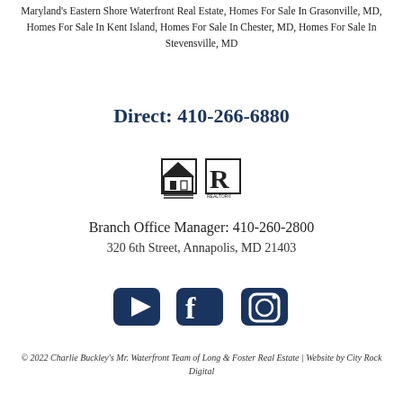Maryland's Eastern Shore Waterfront Real Estate, Homes For Sale In Grasonville, MD, Homes For Sale In Kent Island, Homes For Sale In Chester, MD, Homes For Sale In Stevensville, MD
Direct: 410-266-6880
[Figure (logo): Equal Housing Opportunity and Realtor logos]
Branch Office Manager: 410-260-2800
320 6th Street, Annapolis, MD 21403
[Figure (other): Social media icons: YouTube, Facebook, Instagram]
© 2022 Charlie Buckley's Mr. Waterfront Team of Long & Foster Real Estate | Website by City Rock Digital